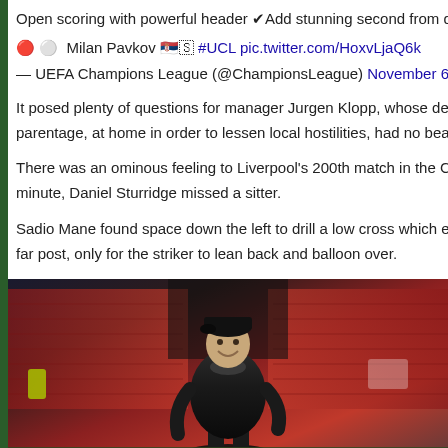Open scoring with powerful header ✔Add stunning second from distan…
🔴 ⚪ Milan Pavkov 🇷🇸🇸 #UCL pic.twitter.com/HoxvLjaQ6k
— UEFA Champions League (@ChampionsLeague) November 6, 2018
It posed plenty of questions for manager Jurgen Klopp, whose decision to leave parentage, at home in order to lessen local hostilities, had no bearing on this p…
There was an ominous feeling to Liverpool's 200th match in the Champions Le… minute, Daniel Sturridge missed a sitter.
Sadio Mane found space down the left to drill a low cross which evaded Moha… far post, only for the striker to lean back and balloon over.
[Figure (photo): Jurgen Klopp smiling on the touchline during a UEFA Champions League match at night, wearing a dark puffer jacket and cap, in a red stadium.]